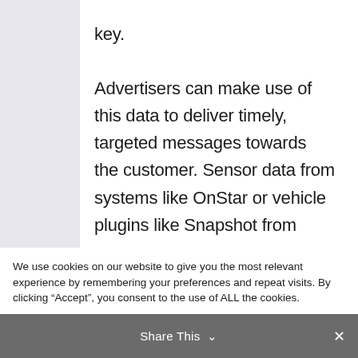key.

Advertisers can make use of this data to deliver timely, targeted messages towards the customer. Sensor data from systems like OnStar or vehicle plugins like Snapshot from
We use cookies on our website to give you the most relevant experience by remembering your preferences and repeat visits. By clicking “Accept”, you consent to the use of ALL the cookies.
Do not sell my personal information.
Cookie Settings
Accept
Share This